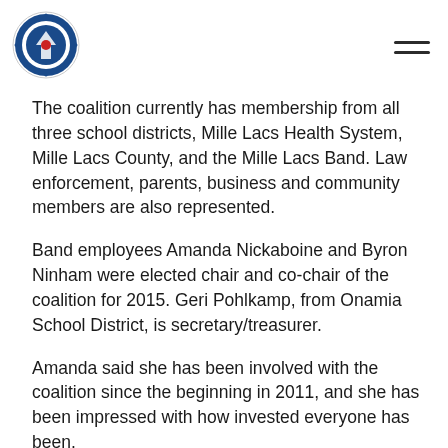Mille Lacs Band of Ojibwe logo and navigation
The coalition currently has membership from all three school districts, Mille Lacs Health System, Mille Lacs County, and the Mille Lacs Band. Law enforcement, parents, business and community members are also represented.
Band employees Amanda Nickaboine and Byron Ninham were elected chair and co-chair of the coalition for 2015. Geri Pohlkamp, from Onamia School District, is secretary/treasurer.
Amanda said she has been involved with the coalition since the beginning in 2011, and she has been impressed with how invested everyone has been.